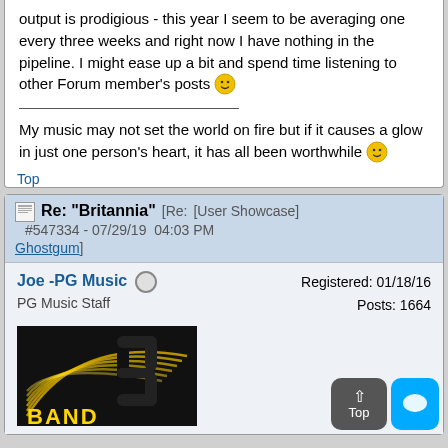output is prodigious - this year I seem to be averaging one every three weeks and right now I have nothing in the pipeline. I might ease up a bit and spend time listening to other Forum member's posts 😊
My music may not set the world on fire but if it causes a glow in just one person's heart, it has all been worthwhile 😊
Top
Re: "Britannia" [Re: [User Showcase] #547334 - 07/29/19 04:03 PM Ghostgum]
Joe -PG Music
PG Music Staff
Registered: 01/18/16
Posts: 1664
[Figure (logo): Band-in-a-Box logo with golden lines and BAND text on dark background]